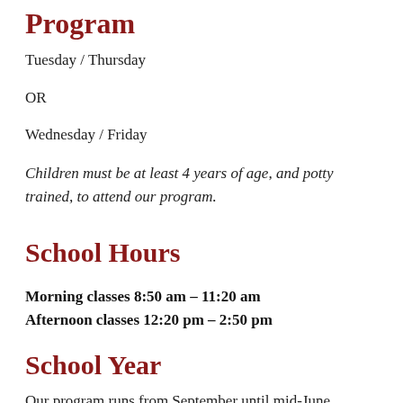Program
Tuesday / Thursday
OR
Wednesday / Friday
Children must be at least 4 years of age, and potty trained, to attend our program.
School Hours
Morning classes 8:50 am – 11:20 am
Afternoon classes 12:20 pm – 2:50 pm
School Year
Our program runs from September until mid-June.  During